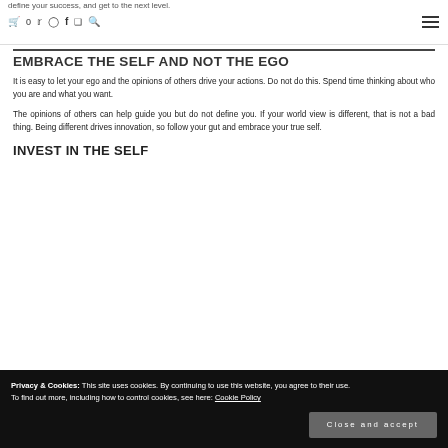define your success, and get to the next level.
EMBRACE THE SELF AND NOT THE EGO
It is easy to let your ego and the opinions of others drive your actions. Do not do this. Spend time thinking about who you are and what you want.
The opinions of others can help guide you but do not define you. If your world view is different, that is not a bad thing. Being different drives innovation, so follow your gut and embrace your true self.
INVEST IN THE SELF
Privacy & Cookies: This site uses cookies. By continuing to use this website, you agree to their use. To find out more, including how to control cookies, see here: Cookie Policy